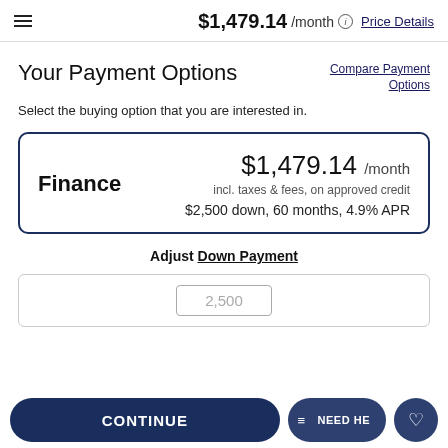$1,479.14 /month  Price Details
Your Payment Options
Compare Payment Options
Select the buying option that you are interested in.
Finance  $1,479.14 /month  incl. taxes & fees, on approved credit  $2,500 down, 60 months, 4.9% APR
Adjust Down Payment
2,500